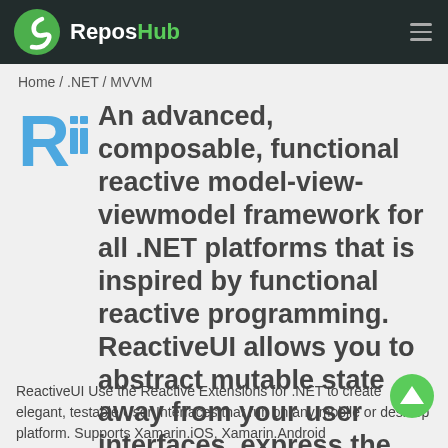ReposHub
Home / .NET / MVVM
An advanced, composable, functional reactive model-view-viewmodel framework for all .NET platforms that is inspired by functional reactive programming. ReactiveUI allows you to abstract mutable state away from your user interfaces, express the idea around a feature in one readable place and improve the testability of your application.
ReactiveUI Use the Reactive Extensions for .NET to create elegant, testable User Interfaces that run on any mobile or desktop platform. Supports Xamarin.iOS, Xamarin.Android